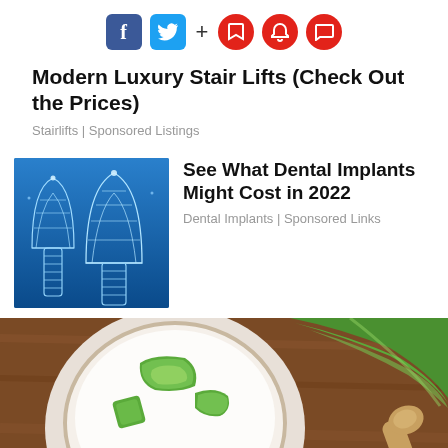[Figure (infographic): Social media sharing icons: Facebook (blue square), Twitter (blue square), plus sign, then three red circle icons (bookmark, bell, comment)]
Modern Luxury Stair Lifts (Check Out the Prices)
Stairlifts | Sponsored Listings
[Figure (illustration): Digital illustration of two dental implants with geometric/wireframe style on a blue background]
See What Dental Implants Might Cost in 2022
Dental Implants | Sponsored Links
[Figure (photo): Photograph of aloe vera gel pieces in a white cream bowl and a large aloe vera leaf on a wooden surface with a spoon]